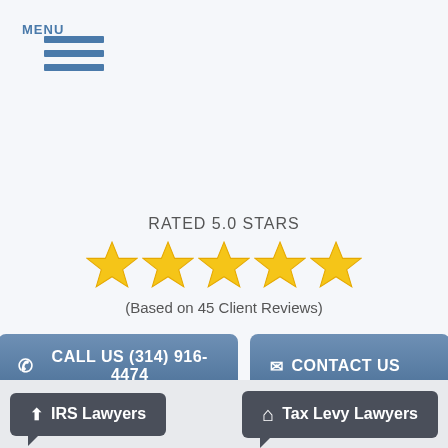MENU
RATED 5.0 STARS
[Figure (other): Five gold stars rating display]
(Based on 45 Client Reviews)
CALL US (314) 916-4474
CONTACT US
IRS Lawyers
Tax Levy Lawyers